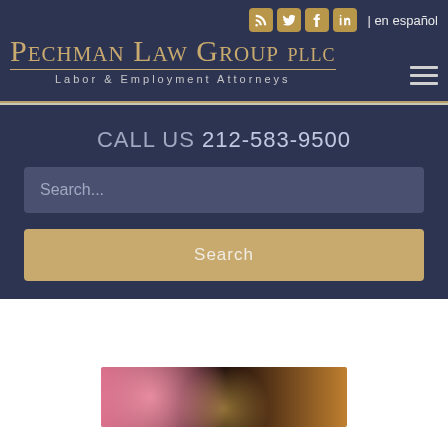Pechman Law Group PLLC — Labor & Employment Attorneys
| en español
CALL US 212-583-9500
[Figure (screenshot): Search bar with placeholder text 'Search...' and a tan/gold Search button below it]
[Figure (photo): Partial photo at bottom of page, appears to show food or colorful subject with bokeh lights]